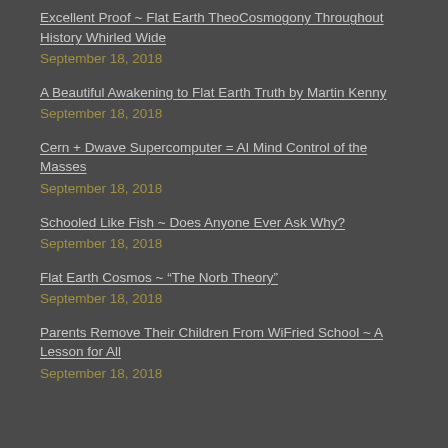Excellent Proof ~ Flat Earth TheoCosmogony Throughout History Whirled Wide September 18, 2018
A Beautiful Awakening to Flat Earth Truth by Martin Kenny September 18, 2018
Cern + Dwave Supercomputer = AI Mind Control of the Masses September 18, 2018
Schooled Like Fish ~ Does Anyone Ever Ask Why? September 18, 2018
Flat Earth Cosmos ~ “The Norb Theory” September 18, 2018
Parents Remove Their Children From WiFried School ~ A Lesson for All September 18, 2018